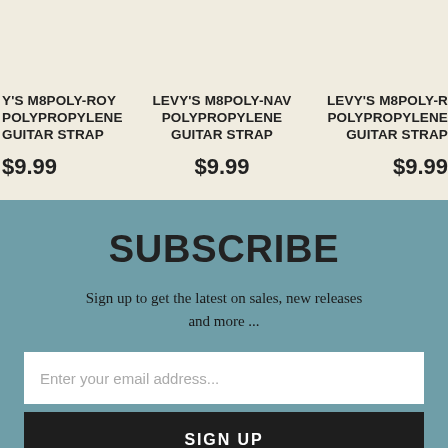Y'S M8POLY-ROY POLYPROPYLENE GUITAR STRAP
$9.99
LEVY'S M8POLY-NAV POLYPROPYLENE GUITAR STRAP
$9.99
LEVY'S M8POLY-R POLYPROPYLENE GUITAR STRAP
$9.99
SUBSCRIBE
Sign up to get the latest on sales, new releases and more ...
Enter your email address...
SIGN UP
Guitarperks